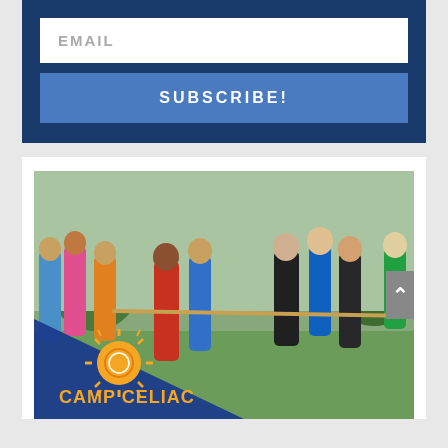EMAIL
SUBSCRIBE!
[Figure (photo): Group of children and teenagers playing tug-of-war outdoors on grass. Several kids are leaning back pulling a rope. Trees visible in background. Overlaid with Camp Celiac logo (sun icon) and text 'CAMP CELIAC' in gold letters on a dark blue triangular banner in the lower left corner.]